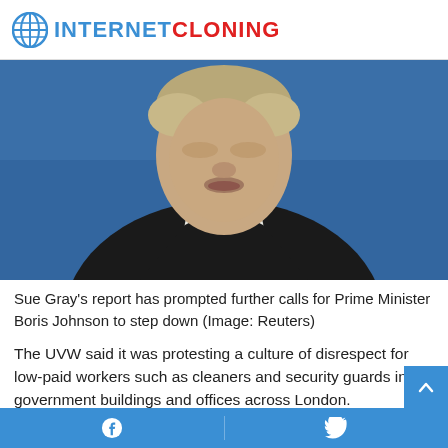INTERNET CLONING
[Figure (photo): Close-up photo of Prime Minister Boris Johnson in a dark suit and blue tie against a blue background]
Sue Gray's report has prompted further calls for Prime Minister Boris Johnson to step down (Image: Reuters)
The UVW said it was protesting a culture of disrespect for low-paid workers such as cleaners and security guards in government buildings and offices across London.
Secretary-General Petros Elia said: “We are not the least b
Facebook | Twitter